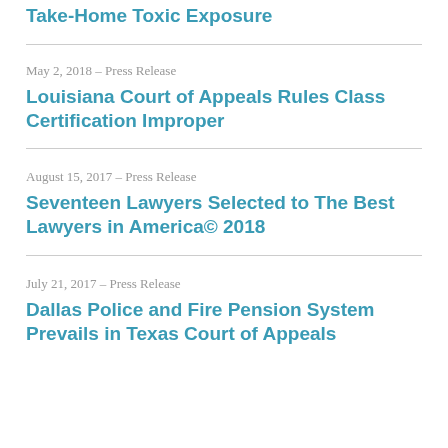Take-Home Toxic Exposure
May 2, 2018 – Press Release
Louisiana Court of Appeals Rules Class Certification Improper
August 15, 2017 – Press Release
Seventeen Lawyers Selected to The Best Lawyers in America© 2018
July 21, 2017 – Press Release
Dallas Police and Fire Pension System Prevails in Texas Court of Appeals